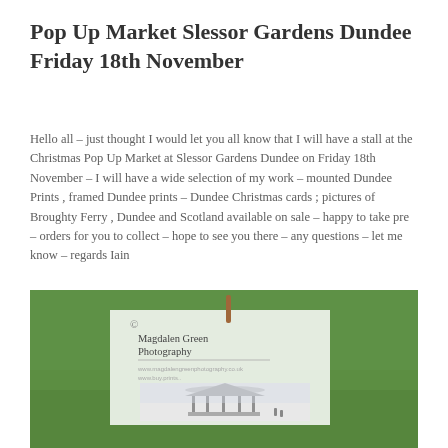Pop Up Market Slessor Gardens Dundee Friday 18th November
Hello all – just thought I would let you all know that I will have a stall at the Christmas Pop Up Market at Slessor Gardens Dundee on Friday 18th November – I will have a wide selection of my work – mounted Dundee Prints , framed Dundee prints – Dundee Christmas cards ; pictures of Broughty Ferry , Dundee and Scotland available on sale – happy to take pre – orders for you to collect – hope to see you there – any questions – let me know – regards Iain
[Figure (photo): Photograph of a watermarked photography print card showing a bandstand image, placed on green grass. The card reads 'Magdalen Green Photography' with a copyright symbol and website URL.]